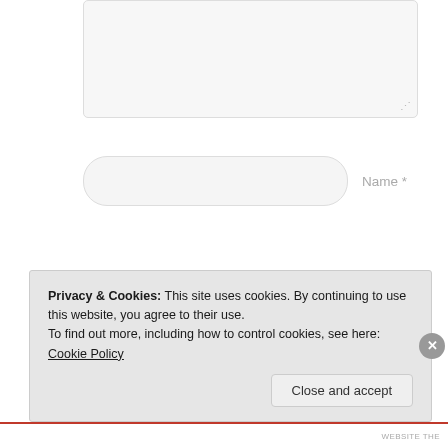[Figure (screenshot): Partially visible textarea input field at top of page]
Name *
Email *
Website
Post Comment
Notify me of new comments via email.
Notify me of new posts via email.
Privacy & Cookies: This site uses cookies. By continuing to use this website, you agree to their use.
To find out more, including how to control cookies, see here: Cookie Policy
Close and accept